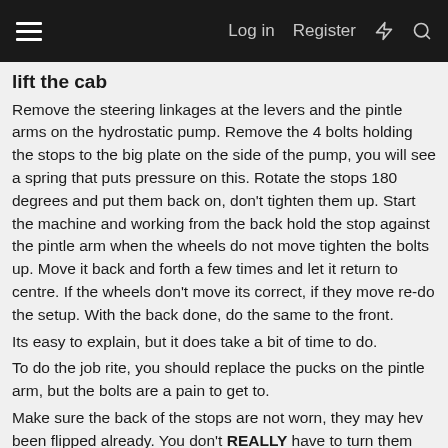≡  Log in  Register  ⚡  🔍
lift the cab
Remove the steering linkages at the levers and the pintle arms on the hydrostatic pump. Remove the 4 bolts holding the stops to the big plate on the side of the pump, you will see a spring that puts pressure on this. Rotate the stops 180 degrees and put them back on, don't tighten them up. Start the machine and working from the back hold the stop against the pintle arm when the wheels do not move tighten the bolts up. Move it back and forth a few times and let it return to centre. If the wheels don't move its correct, if they move re-do the setup. With the back done, do the same to the front.
Its easy to explain, but it does take a bit of time to do.
To do the job rite, you should replace the pucks on the pintle arm, but the bolts are a pain to get to.
Make sure the back of the stops are not worn, they may hev been flipped already. You don't REALLY have to turn them over to get centre, you can still do it with worn bits, just do the steps i mentioned earlier. Make sure you start at the back! it will not work if you start at the front.